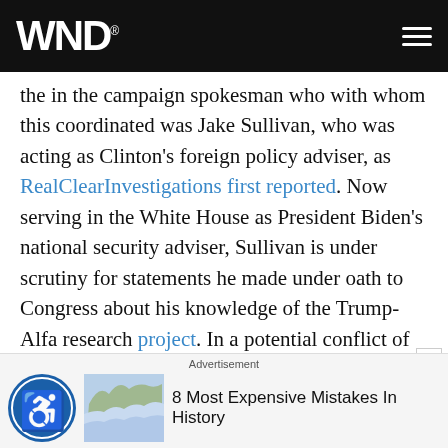WND
the in the campaign spokesman who with whom this coordinated was Jake Sullivan, who was acting as Clinton’s foreign policy adviser, as RealClearInvestigations first reported. Now serving in the White House as President Biden’s national security adviser, Sullivan is under scrutiny for statements he made under oath to Congress about his knowledge of the Trump-Alfa research project. In a potential conflict of interest, Attorney General Merrick Garland employed Sullivan’s wife Maggie as a law clerk when he was a federal judge. Garland controls the purse strings to Durham’s investigation and whether his final report will be released to the public.
Advertisement
8 Most Expensive Mistakes In History